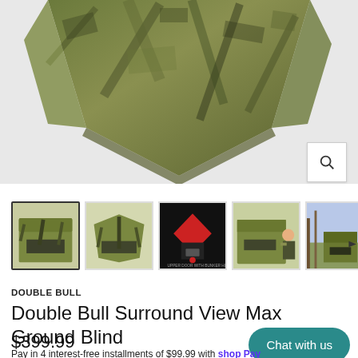[Figure (photo): Main product image of Double Bull Surround View Max Ground Blind in camouflage pattern, showing roof/top portion of the blind]
[Figure (photo): Thumbnail strip showing 6 product images: selected thumb showing front of camo blind, second camo blind angle, third diagram with red diamond shape and label, fourth blind with person, fifth blind in field, sixth partial view]
DOUBLE BULL
Double Bull Surround View Max Ground Blind
Chat with us
$399.99
Pay in 4 interest-free installments of $99.99 with shop Pay